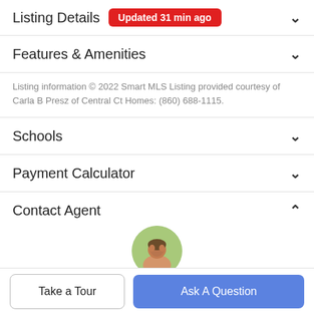Listing Details  Updated 31 min ago
Features & Amenities
Listing information © 2022 Smart MLS Listing provided courtesy of Carla B Presz of Central Ct Homes: (860) 688-1115.
Schools
Payment Calculator
Contact Agent
[Figure (photo): Circular agent profile photo of a woman with brown hair against a green outdoor background]
Take a Tour
Ask A Question